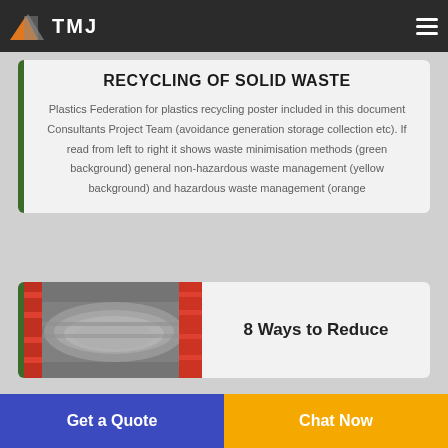TMJ
RECYCLING OF SOLID WASTE
Plastics Federation for plastics recycling poster included in this document Consultants Project Team (avoidance generation storage collection etc). If read from left to right it shows waste minimisation methods (green background) general non-hazardous waste management (yellow background) and hazardous waste management (orange
[Figure (photo): Industrial conveyor/machinery equipment photo with red metal framework and gray rollers]
8 Ways to Reduce
Get a Quote
Chat Now